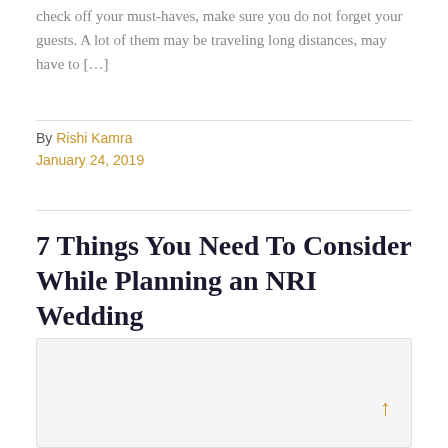check off your must-haves, make sure you do not forget your guests. A lot of them may be traveling long distances, may have to […]
By Rishi Kamra
January 24, 2019
7 Things You Need To Consider While Planning an NRI Wedding
[Figure (photo): Article featured image for NRI Wedding planning article]